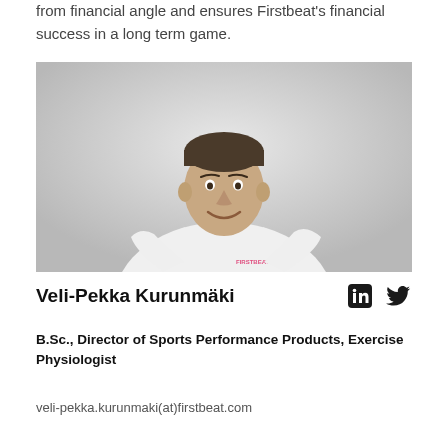from financial angle and ensures Firstbeat's financial success in a long term game.
[Figure (photo): Professional headshot of Veli-Pekka Kurunmäki wearing a white Firstbeat polo shirt, smiling, against a light grey background.]
Veli-Pekka Kurunmäki
B.Sc., Director of Sports Performance Products, Exercise Physiologist
veli-pekka.kurunmaki(at)firstbeat.com